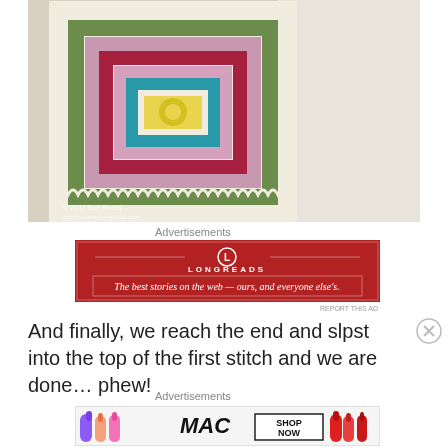[Figure (photo): Close-up photograph of a colorful crochet granny square with concentric diamond rings in green, pink, dark red/maroon, teal, and yellow, with a cream/white border. Copyright watermark reads '© 2012 Sue Rivers crochetiscarryingwood.com']
Advertisements
[Figure (other): Advertisement for Longreads on a dark red background. Shows the Longreads logo (circle with L) and tagline 'The best stories on the web — ours, and everyone else's.' with a decorative border.]
REPORT THIS AD
And finally, we reach the end and slpst into the top of the first stitch and we are done… phew!
Advertisements
[Figure (other): MAC cosmetics advertisement showing lipsticks (purple, peach, pink) alongside the MAC logo and 'SHOP NOW' button, with a red lipstick on the right.]